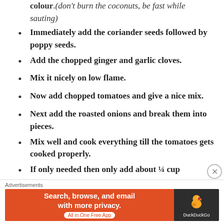colour.(don't burn the coconuts, be fast while sauting)
Immediately add the coriander seeds followed by poppy seeds.
Add the chopped ginger and garlic cloves.
Mix it nicely on low flame.
Now add chopped tomatoes and give a nice mix.
Next add the roasted onions and break them into pieces.
Mix well and cook everything till the tomatoes gets cooked properly.
If only needed then only add about ¼ cup
Advertisements
[Figure (other): DuckDuckGo advertisement banner: Search, browse, and email with more privacy. All in One Free App. DuckDuckGo logo on dark background.]